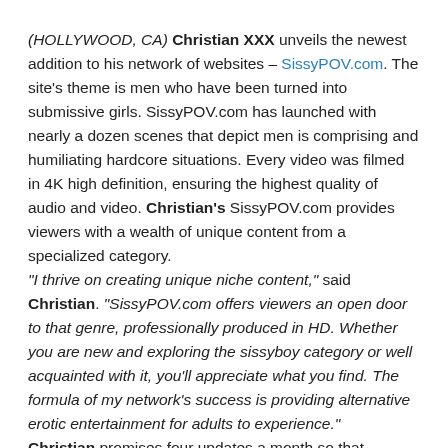(HOLLYWOOD, CA) Christian XXX unveils the newest addition to his network of websites – SissyPOV.com. The site's theme is men who have been turned into submissive girls. SissyPOV.com has launched with nearly a dozen scenes that depict men is comprising and humiliating hardcore situations. Every video was filmed in 4K high definition, ensuring the highest quality of audio and video. Christian's SissyPOV.com provides viewers with a wealth of unique content from a specialized category. "I thrive on creating unique niche content," said Christian. "SissyPOV.com offers viewers an open door to that genre, professionally produced in HD. Whether you are new and exploring the sissyboy category or well acquainted with it, you'll appreciate what you find. The formula of my network's success is providing alternative erotic entertainment for adults to experience." Christian promises four updates a month so that subscribers will enjoy a consistent stream of fresh content. Models seen on SissyPOV include Khloe Cox, Gianna Bella Banks, Nicole Morgan,